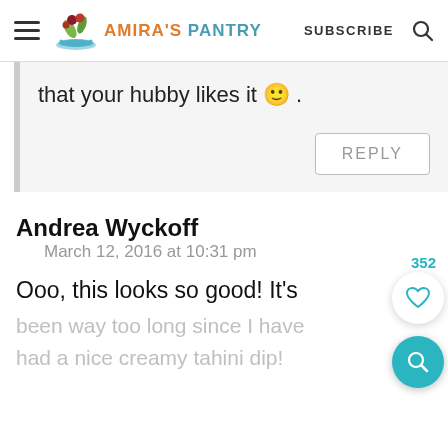Amira's Pantry | SUBSCRIBE
that your hubby likes it 🙂 .
REPLY
Andrea Wyckoff
March 12, 2016 at 10:31 pm
Ooo, this looks so good! It's
been way too long since I have had a nice creamy tahini dip!